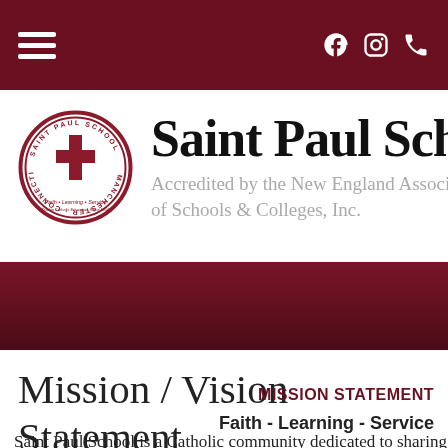Saint Paul School navigation bar with hamburger menu and social icons (Facebook, Instagram, phone)
Saint Paul Schoo
Accredited by the New England Association of Schools & Colleges, Inc.
Mission / Vision Statement
MISSION STATEMENT
Faith - Learning - Service
Saint Paul School is a Catholic community dedicated to sharing o